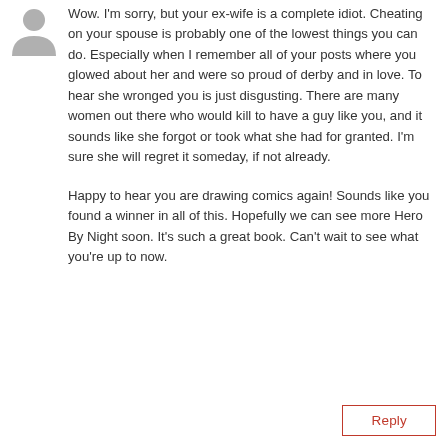[Figure (illustration): Generic user avatar icon (silhouette of a person, grey)]
Wow. I'm sorry, but your ex-wife is a complete idiot. Cheating on your spouse is probably one of the lowest things you can do. Especially when I remember all of your posts where you glowed about her and were so proud of derby and in love. To hear she wronged you is just disgusting. There are many women out there who would kill to have a guy like you, and it sounds like she forgot or took what she had for granted. I'm sure she will regret it someday, if not already.

Happy to hear you are drawing comics again! Sounds like you found a winner in all of this. Hopefully we can see more Hero By Night soon. It's such a great book. Can't wait to see what you're up to now.
Reply